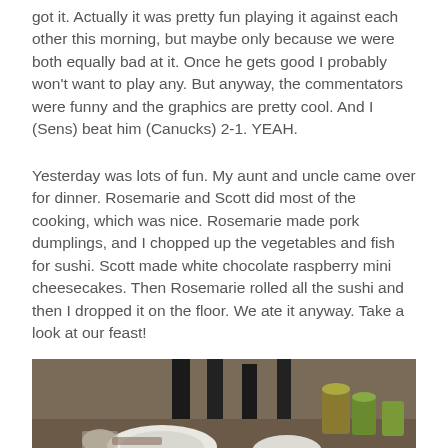got it. Actually it was pretty fun playing it against each other this morning, but maybe only because we were both equally bad at it. Once he gets good I probably won't want to play any. But anyway, the commentators were funny and the graphics are pretty cool. And I (Sens) beat him (Canucks) 2-1. YEAH.
Yesterday was lots of fun. My aunt and uncle came over for dinner. Rosemarie and Scott did most of the cooking, which was nice. Rosemarie made pork dumplings, and I chopped up the vegetables and fish for sushi. Scott made white chocolate raspberry mini cheesecakes. Then Rosemarie rolled all the sushi and then I dropped it on the floor. We ate it anyway. Take a look at our feast!
[Figure (photo): A dimly lit photo of a dinner table with food items including white plates, glasses, and various dishes. There appear to be condiment containers in the background with gold/green lids.]